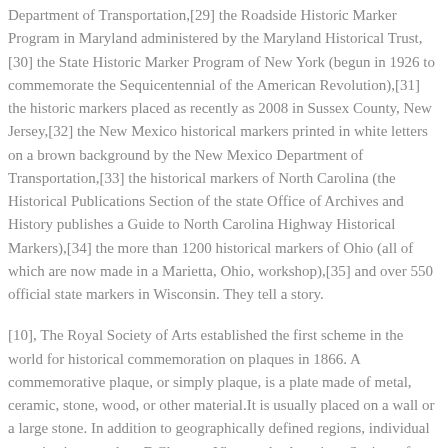Department of Transportation,[29] the Roadside Historic Marker Program in Maryland administered by the Maryland Historical Trust,[30] the State Historic Marker Program of New York (begun in 1926 to commemorate the Sequicentennial of the American Revolution),[31] the historic markers placed as recently as 2008 in Sussex County, New Jersey,[32] the New Mexico historical markers printed in white letters on a brown background by the New Mexico Department of Transportation,[33] the historical markers of North Carolina (the Historical Publications Section of the state Office of Archives and History publishes a Guide to North Carolina Highway Historical Markers),[34] the more than 1200 historical markers of Ohio (all of which are now made in a Marietta, Ohio, workshop),[35] and over 550 official state markers in Wisconsin. They tell a story.
[10], The Royal Society of Arts established the first scheme in the world for historical commemoration on plaques in 1866. A commemorative plaque, or simply plaque, is a plate made of metal, ceramic, stone, wood, or other material.It is usually placed on a wall or a large stone. In addition to geographically defined regions, individual organizations, such as E Clampus Vitus or the American Society of Mechanical Engineers, can choose to